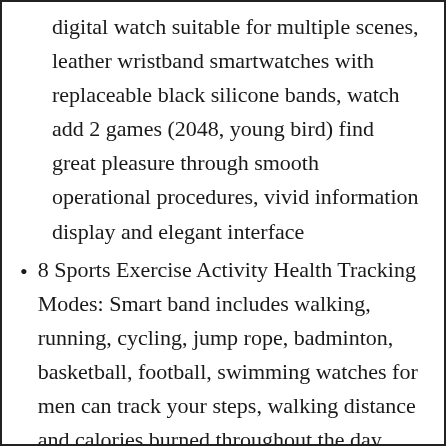digital watch suitable for multiple scenes, leather wristband smartwatches with replaceable black silicone bands, watch add 2 games (2048, young bird) find great pleasure through smooth operational procedures, vivid information display and elegant interface
8 Sports Exercise Activity Health Tracking Modes: Smart band includes walking, running, cycling, jump rope, badminton, basketball, football, swimming watches for men can track your steps, walking distance and calories burned throughout the day. you can set a step goal. track your various exercise data and view the results of each exercise, brings you a better interactive